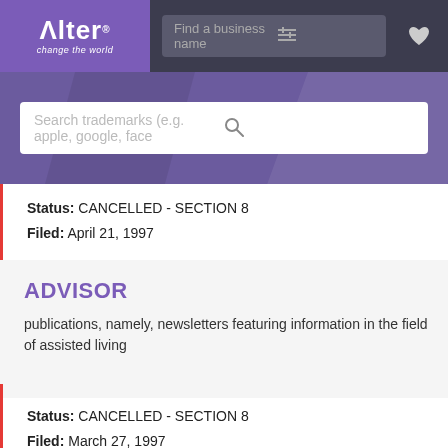[Figure (screenshot): Alter trademark search website header with logo, nav bar, and search field]
Status: CANCELLED - SECTION 8
Filed: April 21, 1997
ADVISOR
publications, namely, newsletters featuring information in the field of assisted living
Status: CANCELLED - SECTION 8
Filed: March 27, 1997